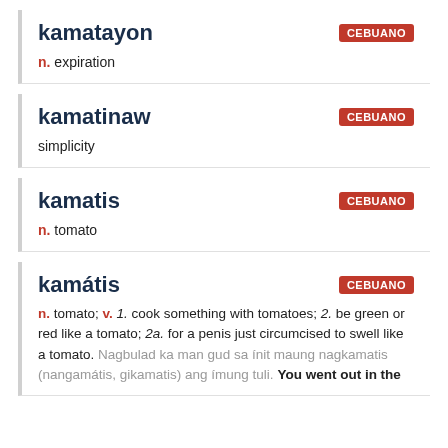kamatayon
n. expiration
kamatinaw
simplicity
kamatis
n. tomato
kamátis
n. tomato; v. 1. cook something with tomatoes; 2. be green or red like a tomato; 2a. for a penis just circumcised to swell like a tomato. Nagbulad ka man gud sa ínit maung nagkamatis (nangamátis, gikamatis) ang ímung tuli. You went out in the